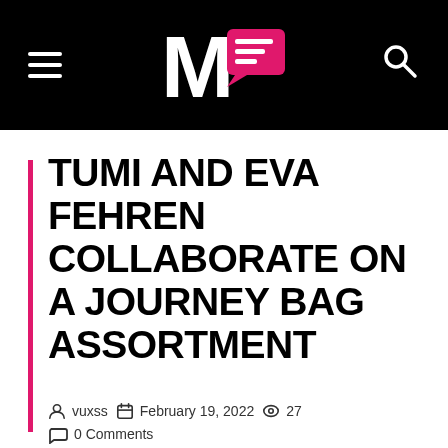[Figure (logo): MF logo with white M and pink speech bubble with white lines, on black navigation bar with hamburger menu and search icon]
TUMI AND EVA FEHREN COLLABORATE ON A JOURNEY BAG ASSORTMENT
vuxss   February 19, 2022   27   0 Comments